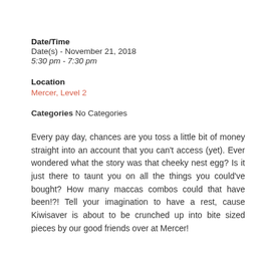Date/Time
Date(s) - November 21, 2018
5:30 pm - 7:30 pm
Location
Mercer, Level 2
Categories No Categories
Every pay day, chances are you toss a little bit of money straight into an account that you can't access (yet). Ever wondered what the story was that cheeky nest egg? Is it just there to taunt you on all the things you could've bought? How many maccas combos could that have been!?! Tell your imagination to have a rest, cause Kiwisaver is about to be crunched up into bite sized pieces by our good friends over at Mercer!